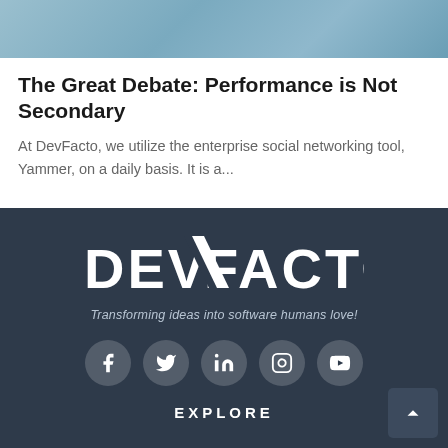[Figure (photo): Cropped photo of a person wearing a light blue shirt, visible from chest area, partial torso view]
The Great Debate: Performance is Not Secondary
At DevFacto, we utilize the enterprise social networking tool, Yammer, on a daily basis. It is a...
[Figure (logo): DevFacto company logo in white bold text on dark navy background with tagline 'Transforming ideas into software humans love!']
Transforming ideas into software humans love!
[Figure (infographic): Row of 5 social media icons: Facebook, Twitter, LinkedIn, Instagram, YouTube — white icons on semi-transparent circular backgrounds]
EXPLORE